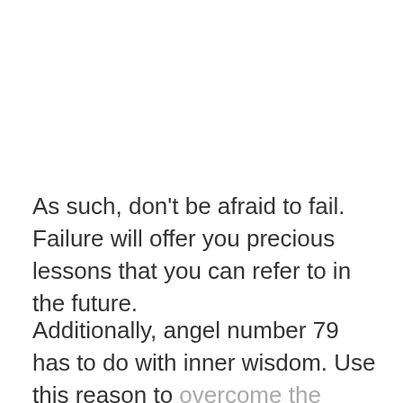As such, don't be afraid to fail. Failure will offer you precious lessons that you can refer to in the future.
Additionally, angel number 79 has to do with inner wisdom. Use this reason to overcome the challenges you'll face in life.